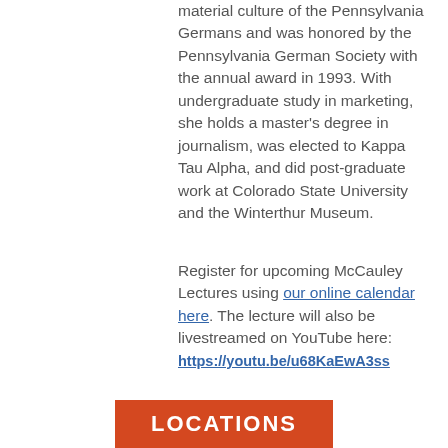material culture of the Pennsylvania Germans and was honored by the Pennsylvania German Society with the annual award in 1993. With undergraduate study in marketing, she holds a master's degree in journalism, was elected to Kappa Tau Alpha, and did post-graduate work at Colorado State University and the Winterthur Museum.
Register for upcoming McCauley Lectures using our online calendar here. The lecture will also be livestreamed on YouTube here: https://youtu.be/u68KaEwA3ss
Printer-friendly version
[Figure (other): Orange banner with white bold text reading LOCATIONS]